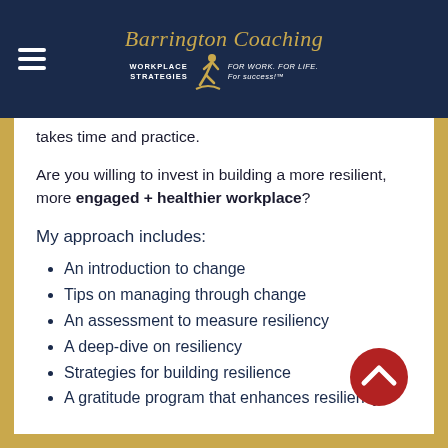Barrington Coaching — WORKPLACE STRATEGIES • FOR WORK. FOR LIFE. For success!™
takes time and practice.
Are you willing to invest in building a more resilient, more engaged + healthier workplace?
My approach includes:
An introduction to change
Tips on managing through change
An assessment to measure resiliency
A deep-dive on resiliency
Strategies for building resilience
A gratitude program that enhances resiliency